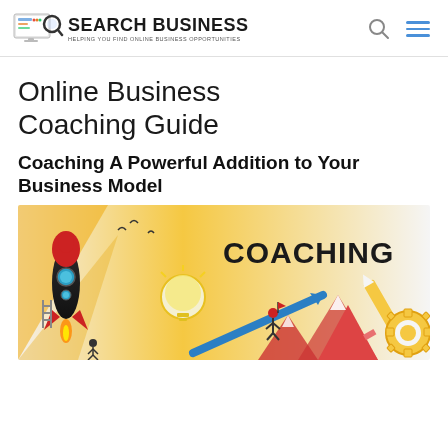SEARCH BUSINESS — HELPING YOU FIND ONLINE BUSINESS OPPORTUNITIES
Online Business Coaching Guide
Coaching A Powerful Addition to Your Business Model
[Figure (illustration): Coaching themed illustration with a rocket ship on the left, a lightbulb, an upward arrow with a person running on it, mountains, pencil, gear, and the word COACHING in large bold text on the right side. Orange, red, teal, and white color scheme.]